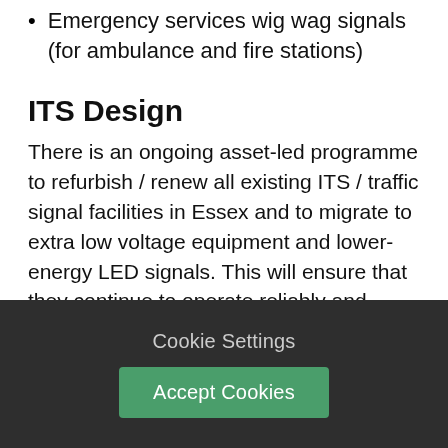Emergency services wig wag signals (for ambulance and fire stations)
ITS Design
There is an ongoing asset-led programme to refurbish / renew all existing ITS / traffic signal facilities in Essex and to migrate to extra low voltage equipment and lower-energy LED signals. This will ensure that they continue to operate reliably and safely together with us gaining the benefit of lower energy consumption.
In addition to renewing existing facilities, new
Cookie Settings
Accept Cookies